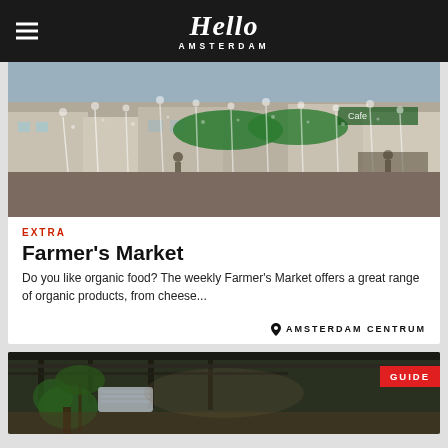Hello Amsterdam
[Figure (photo): Outdoor fountain with water jets in a city square, with cafe and shops in background]
EXTRA
Farmer's Market
Do you like organic food? The weekly Farmer's Market offers a great range of organic products, from cheese...
AMSTERDAM CENTRUM
[Figure (photo): Interior of a restaurant or cafe with plants and exposed ceiling pipes, with a red GUIDE badge]